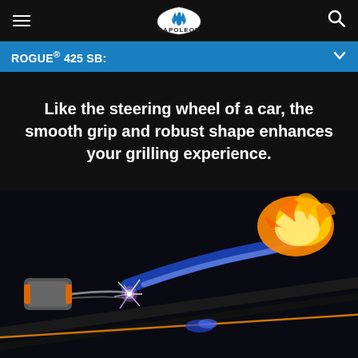NAPOLEON
ROGUE® 425 SB:
Like the steering wheel of a car, the smooth grip and robust shape enhances your grilling experience.
[Figure (photo): Close-up photo of a gas grill igniter sparking with purple/white sparks, a blue flame trail, and an orange flame burst in the dark background, showing grill burner ignition in action.]